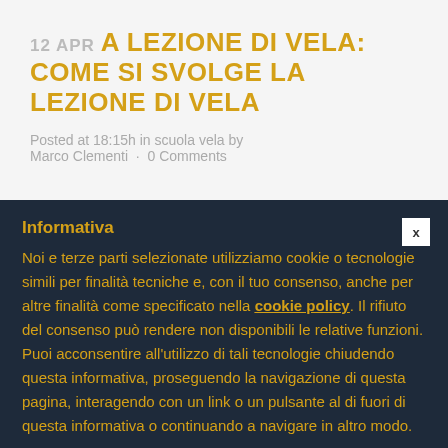[Figure (photo): Partial image strip at very top of page, brown/golden tones]
12 APR A LEZIONE DI VELA: COME SI SVOLGE LA LEZIONE DI VELA
Posted at 18:15h in scuola vela by Marco Clementi · 0 Comments
Informativa
Noi e terze parti selezionate utilizziamo cookie o tecnologie simili per finalità tecniche e, con il tuo consenso, anche per altre finalità come specificato nella cookie policy. Il rifiuto del consenso può rendere non disponibili le relative funzioni.
Puoi acconsentire all'utilizzo di tali tecnologie chiudendo questa informativa, proseguendo la navigazione di questa pagina, interagendo con un link o un pulsante al di fuori di questa informativa o continuando a navigare in altro modo.